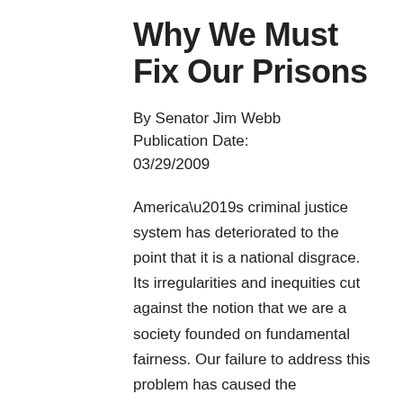Why We Must Fix Our Prisons
By Senator Jim Webb
Publication Date:
03/29/2009
America’s criminal justice system has deteriorated to the point that it is a national disgrace. Its irregularities and inequities cut against the notion that we are a society founded on fundamental fairness. Our failure to address this problem has caused the nation’s prisons to burst their seams with massive overcrowding, even